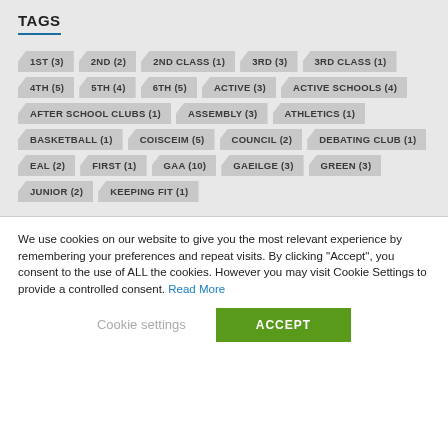TAGS
1ST (3)
2ND (2)
2ND CLASS (1)
3RD (3)
3RD CLASS (1)
4TH (5)
5TH (4)
6TH (5)
ACTIVE (3)
ACTIVE SCHOOLS (4)
AFTER SCHOOL CLUBS (1)
ASSEMBLY (3)
ATHLETICS (1)
BASKETBALL (1)
COISCEIM (5)
COUNCIL (2)
DEBATING CLUB (1)
EAL (2)
FIRST (1)
GAA (10)
GAEILGE (3)
GREEN (3)
JUNIOR (2)
KEEPING FIT (1)
We use cookies on our website to give you the most relevant experience by remembering your preferences and repeat visits. By clicking "Accept", you consent to the use of ALL the cookies. However you may visit Cookie Settings to provide a controlled consent. Read More